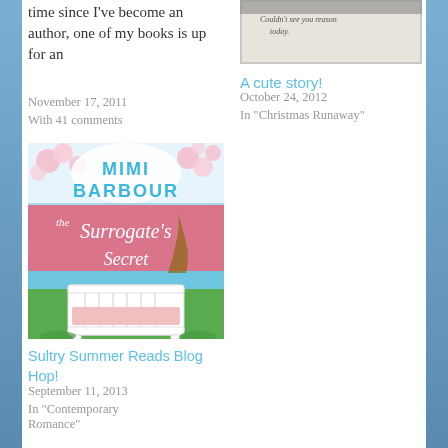time since I've become an author, one of my books is up for an
November 17, 2011
With 41 comments
[Figure (photo): Handwritten note on paper, partially visible]
A cute story!
October 24, 2012
In "Christmas Runaway"
[Figure (illustration): Book cover for 'The Surrogate's Secret' by Mimi Barbour, showing a baby crib on green grass with cherry blossoms and water in the background]
Sultry Summer Reads Blog Hop!
September 11, 2013
In "Contemporary Romance"